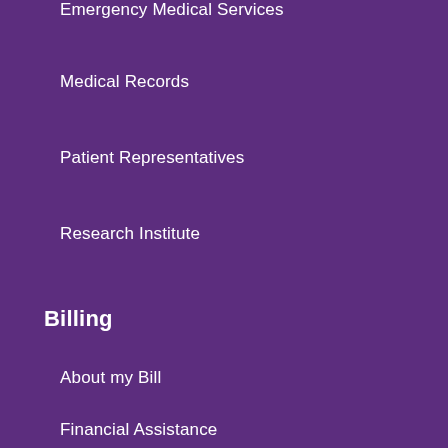Emergency Medical Services
Medical Records
Patient Representatives
Research Institute
Billing
About my Bill
Financial Assistance
Insurance
Pay My Bill Online
Cost of Care